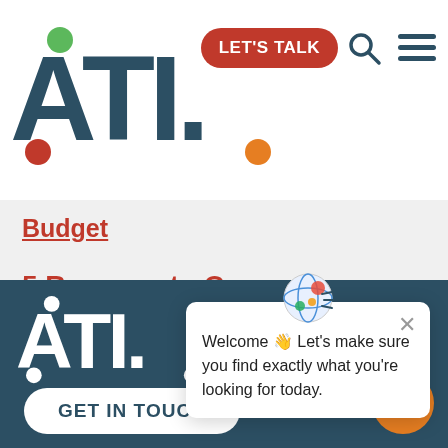[Figure (logo): ATL logo with green dot above A, red dot below A, orange dot below period. Navigation bar with red 'LET'S TALK' button, search icon, and hamburger menu.]
Budget
5 Reasons to Connect Translation Software With Your System
[Figure (screenshot): Chat popup widget with globe icon, close X button, and text: Welcome 👋 Let's make sure you find exactly what you're looking for today.]
[Figure (logo): ATL logo in white on dark teal background, with GET IN TOUCH button and orange chat bubble button.]